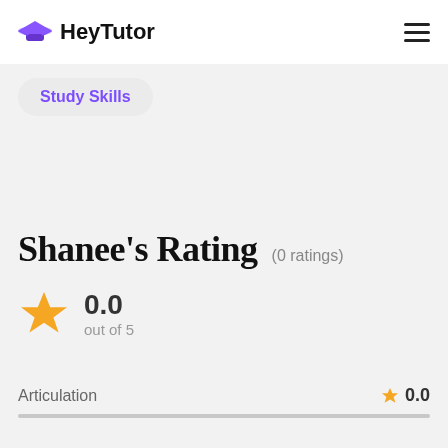HeyTutor
Study Skills
Shanee's Rating (0 ratings)
0.0 out of 5
Articulation 0.0